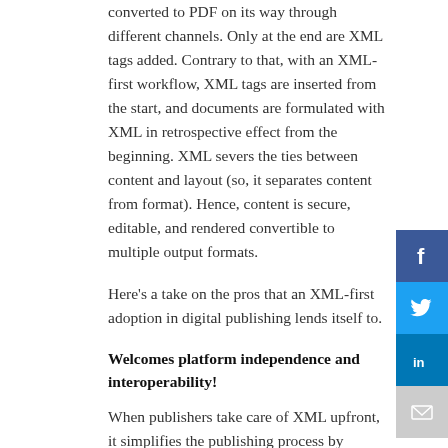converted to PDF on its way through different channels. Only at the end are XML tags added. Contrary to that, with an XML-first workflow, XML tags are inserted from the start, and documents are formulated with XML in retrospective effect from the beginning. XML severs the ties between content and layout (so, it separates content from format). Hence, content is secure, editable, and rendered convertible to multiple output formats.
Here's a take on the pros that an XML-first adoption in digital publishing lends itself to.
Welcomes platform independence and interoperability!
When publishers take care of XML upfront, it simplifies the publishing process by enabling the delivery of multiple digital formats such as HTML, ePub, PDF, ePapers, eMagazines quickly. Besides, it helps repurpose content and layouts across various